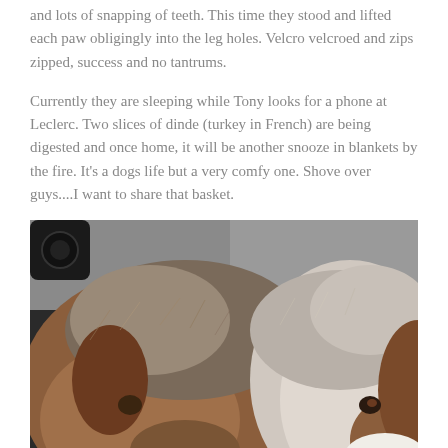and lots of snapping of teeth. This time they stood and lifted each paw obligingly into the leg holes. Velcro velcroed and zips zipped, success and no tantrums.
Currently they are sleeping while Tony looks for a phone at Leclerc. Two slices of dinde (turkey in French) are being digested and once home, it will be another snooze in blankets by the fire. It's a dogs life but a very comfy one. Shove over guys....I want to share that basket.
[Figure (photo): Close-up photo of two fluffy dogs resting together in what appears to be the back seat of a car. The dog on the left is brown and white with a furry head visible. The dog on the right is also multi-colored. A grey blanket or seat cover is visible in the background along with car interior.]